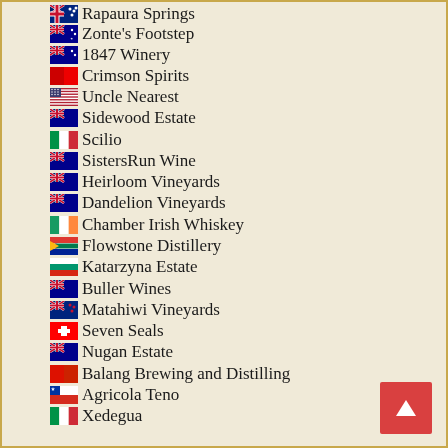Rapaura Springs
Zonte's Footstep
1847 Winery
Crimson Spirits
Uncle Nearest
Sidewood Estate
Scilio
SistersRun Wine
Heirloom Vineyards
Dandelion Vineyards
Chamber Irish Whiskey
Flowstone Distillery
Katarzyna Estate
Buller Wines
Matahiwi Vineyards
Seven Seals
Nugan Estate
Balang Brewing and Distilling
Agricola Teno
Xedegua